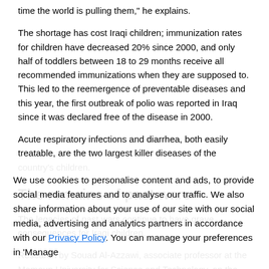time the world is pulling them," he explains.
The shortage has cost Iraqi children; immunization rates for children have decreased 20% since 2000, and only half of toddlers between 18 to 29 months receive all recommended immunizations when they are supposed to. This led to the reemergence of preventable diseases and this year, the first outbreak of polio was reported in Iraq since it was declared free of the disease in 2000.
Acute respiratory infections and diarrhea, both easily treatable, are the two largest killer diseases of the country’s children.
The remains of past wars
The legacies of past wars continue to have grave consequences for Iraqi children.
Research by Souad Al-Azzawi, associate professor at the Mamoun University for Science and Technology, on the use of depleted uranium (DU) in Iraq found clear correlations between exposure to the low-level radiation and increases in birth defects, children’s leukaemia and malignancies registered since 1995 including some forms of cancer not seen prior to 1991.
We use cookies to personalise content and ads, to provide social media features and to analyse our traffic. We also share information about your use of our site with our social media, advertising and analytics partners in accordance with our Privacy Policy. You can manage your preferences in ‘Manage